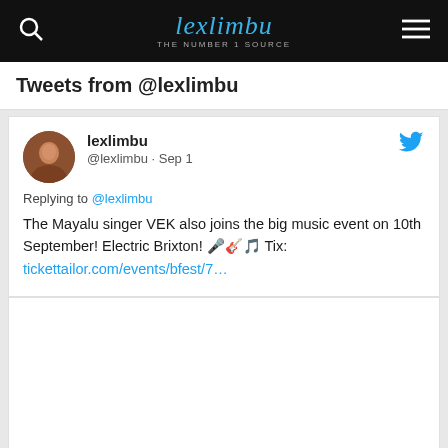lexlimbu THE NUMBER 1 SOURCE
Tweets from @lexlimbu
lexlimbu @lexlimbu · Sep 1
Replying to @lexlimbu
The Mayalu singer VEK also joins the big music event on 10th September! Electric Brixton! 🎤🎸🎵 Tix: tickettailor.com/events/bfest/7…
[Figure (photo): White placeholder image area below the tweet card]